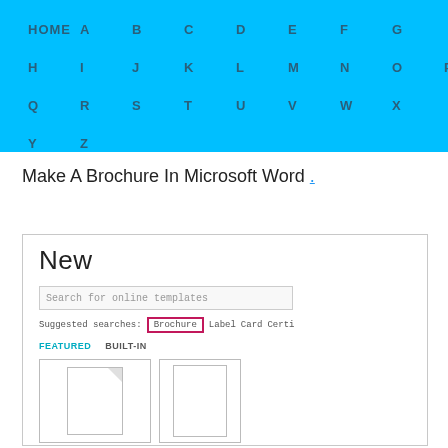HOME A B C D E F G H I J K L M N O P Q R S T U V W X Y Z
Make A Brochure In Microsoft Word .
[Figure (screenshot): Microsoft Word 'New' document template screen showing 'New' heading, search bar for online templates, suggested searches with 'Brochure' highlighted in a pink/magenta box, then 'Label', 'Card', 'Certi...' links, FEATURED and BUILT-IN tabs, and document thumbnail icons below.]